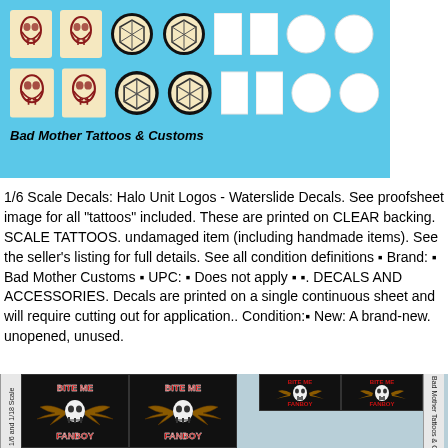[Figure (photo): Product proofsheet image on light blue background showing two rows of decals: Mandalorian skull logos on cream rectangles, circular black and white/cream logos, white rectangles and white circles (blank backing). Text at bottom reads 'Bad Mother Tattoos & Customs' in bold italic.]
1/6 Scale Decals: Halo Unit Logos - Waterslide Decals. See proofsheet image for all "tattoos" included. These are printed on CLEAR backing. SCALE TATTOOS. undamaged item (including handmade items). See the seller's listing for full details. See all condition definitions ▪ Brand: ▪ Bad Mother Customs ▪ UPC: ▪ Does not apply ▪ ▪. DECALS AND ACCESSORIES. Decals are printed on a single continuous sheet and will require cutting out for application.. Condition:▪ New: A brand-new. unopened, unused.
[Figure (photo): Bottom strip showing four black square tiles each with 'BITE ME FANBOY' logo featuring a winged skull, arranged in a 2x2 grid pattern with a gap in the middle. A side label on the right reads 'Bad Mother Tattoos & Customs'.]